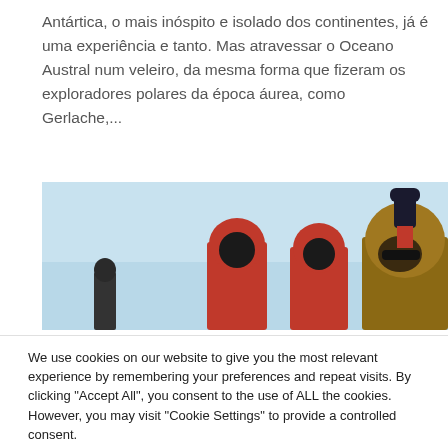Antártica, o mais inóspito e isolado dos continentes, já é uma experiência e tanto. Mas atravessar o Oceano Austral num veleiro, da mesma forma que fizeram os exploradores polares da época áurea, como Gerlache,...
[Figure (photo): Photo of people in red and dark winter coats and hats against a pale blue sky, one person raising a gloved hand]
We use cookies on our website to give you the most relevant experience by remembering your preferences and repeat visits. By clicking "Accept All", you consent to the use of ALL the cookies. However, you may visit "Cookie Settings" to provide a controlled consent.